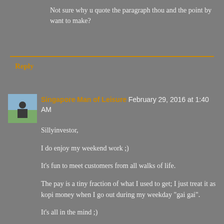Not sure why u quote the paragraph thou and the point by want to make?
Reply
Singapore Man of Leisure  February 29, 2016 at 1:40 AM
Sillyinvestor,

I do enjoy my weekend work ;)

It's fun to meet customers from all walks of life.

The pay is a tiny fraction of what I used to get; I just treat it as kopi money when I go out during my weekday "gai gai".

It's all in the mind ;)

If you asked me 30 years ago, I would say staying at the selling floor is a dead end job. Shift work, work weekends, boring... That's why I moved on to a buyer job - to travel